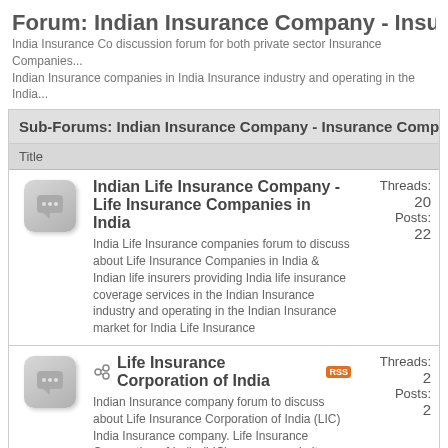Forum: Indian Insurance Company - Insurance Companies i...
India Insurance Co discussion forum for both private sector Insurance Companies... Indian Insurance companies in India Insurance industry and operating in the India...
Sub-Forums: Indian Insurance Company - Insurance Companies in...
| Title | Threads/Posts |
| --- | --- |
| Indian Life Insurance Company - Life Insurance Companies in India
India Life Insurance companies forum to discuss about Life Insurance Companies in India & Indian life insurers providing India life insurance coverage services in the Indian Insurance industry and operating in the Indian Insurance market for India Life Insurance | Threads: 20
Posts: 22 |
| Life Insurance Corporation of India [RSS]
Indian Insurance company forum to discuss about Life Insurance Corporation of India (LIC) India Insurance company. Life Insurance Corporation of India (LIC) company website: http://www.licindia.com | Threads: 2
Posts: 2 |
| Bajaj Allianz Life Insurance [RSS]
Indian Insurance company forum to discuss about Bajaj Allianz Life Insurance India Insurance company. Bajaj Allianz Life Insurance company website: http://www.bajajallianzlife.co.in | Threads: 2
Posts: 4 |
| Birla Sun-Life Insurance [RSS] | Threads: ... |